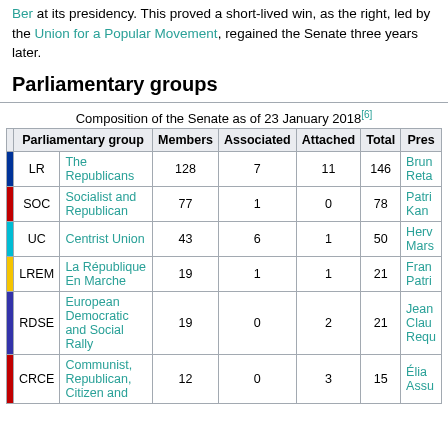Ber at its presidency. This proved a short-lived win, as the right, led by the Union for a Popular Movement, regained the Senate three years later.
Parliamentary groups
Composition of the Senate as of 23 January 2018[6]
| Parliamentary group | Members | Associated | Attached | Total | Pres |
| --- | --- | --- | --- | --- | --- |
| LR | The Republicans | 128 | 7 | 11 | 146 | Brun Reta |
| SOC | Socialist and Republican | 77 | 1 | 0 | 78 | Patri Kan |
| UC | Centrist Union | 43 | 6 | 1 | 50 | Herv Mars |
| LREM | La République En Marche | 19 | 1 | 1 | 21 | Fran Patri |
| RDSE | European Democratic and Social Rally | 19 | 0 | 2 | 21 | Jean Clau Requ |
| CRCE | Communist, Republican, Citizen and | 12 | 0 | 3 | 15 | Élia Assu |